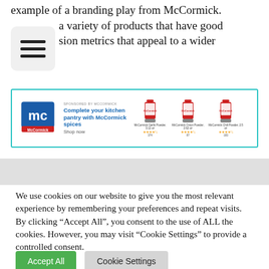example of a branding play from McCormick. [icon] a variety of products that have good [icon]sion metrics that appeal to a wider audience.
[Figure (screenshot): McCormick sponsored Amazon ad showing the McCormick logo, text 'Complete your kitchen pantry with McCormick spices', 'Shop now', and three product images: McCormick Garlic Powder, McCormick Onion Powder, McCormick Chili Powder with star ratings.]
We use cookies on our website to give you the most relevant experience by remembering your preferences and repeat visits. By clicking "Accept All", you consent to the use of ALL the cookies. However, you may visit "Cookie Settings" to provide a controlled consent.
Accept All   Cookie Settings